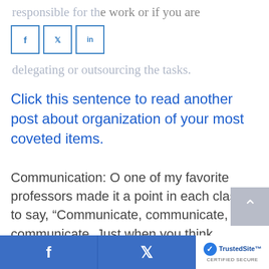responsible for the work or if you are delegating or outsourcing the tasks.
Click this sentence to read another post about organization of your most coveted items.
Communication: O one of my favorite professors made it a point in each class to say, “Communicate, communicate, communicate. Just when you think you’ve communicated enough, communicate even more!” He was right. Communication is essential to effective leadership! I’m always amazed at how simple communication can
f  [twitter bird]  TrustedSite CERTIFIED SECURE